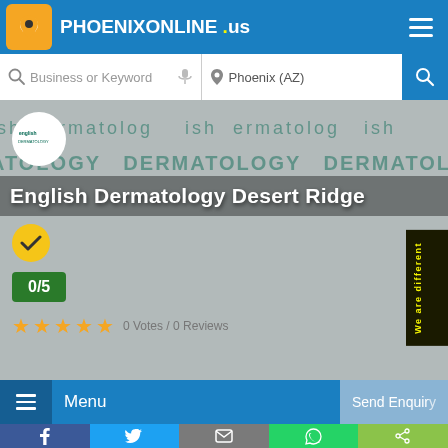PHOENIXONLINE .us
Business or Keyword | Phoenix (AZ)
[Figure (screenshot): English Dermatology Desert Ridge business listing page on PhoenixOnline.us with logo, background dermatology text, rating 0/5, 0 Votes / 0 Reviews, checkmark badge, and side tab 'We are different']
English Dermatology Desert Ridge
0/5
0 Votes / 0 Reviews
We are different
Menu
Send Enquiry